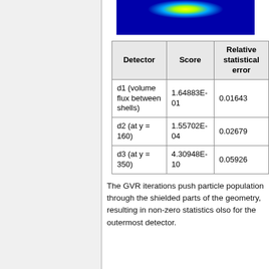[Figure (other): False-color heat map showing flux distribution, with blue background and yellow-green central region at top.]
| Detector | Score | Relative statistical error |
| --- | --- | --- |
| d1 (volume flux between shells) | 1.64883E-01 | 0.01643 |
| d2 (at y = 160) | 1.55702E-04 | 0.02679 |
| d3 (at y = 350) | 4.30948E-10 | 0.05926 |
The GVR iterations push particle population through the shielded parts of the geometry, resulting in non-zero statistics olso for the outermost detector.